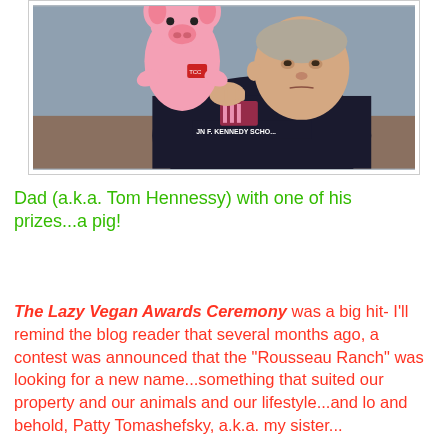[Figure (photo): An elderly man in a dark sweatshirt holding up a pink stuffed pig toy/puppet. The sweatshirt has 'JN F. KENNEDY SCHO...' text visible. He is seated on a couch with a blue wall behind him.]
Dad (a.k.a. Tom Hennessy) with one of his prizes...a pig!
The Lazy Vegan Awards Ceremony was a big hit- I'll remind the blog reader that several months ago, a contest was announced that the "Rousseau Ranch" was looking for a new name...something that suited our property and our animals and our lifestyle...and lo and behold, Patty Tomashefsky, a.k.a. my sister...